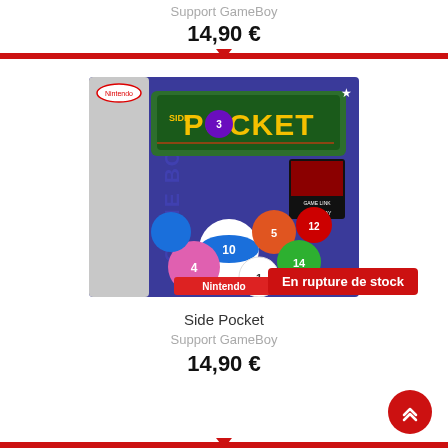Support GameBoy
14,90 €
[Figure (photo): Game Boy Side Pocket video game box art showing billiard balls with GAME BOY branding on left side and POCKET title in the center, with Nintendo logo at bottom]
En rupture de stock
Side Pocket
Support GameBoy
14,90 €